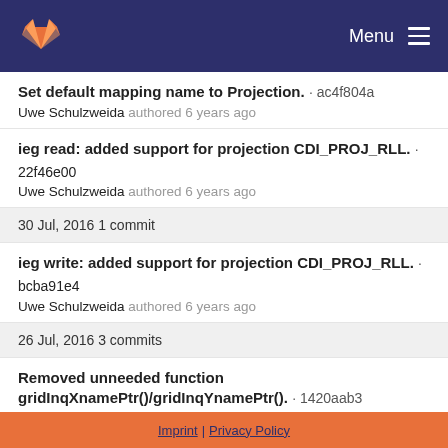GitLab — Menu
Set default mapping name to Projection. · ac4f804a
Uwe Schulzweida authored 6 years ago
ieg read: added support for projection CDI_PROJ_RLL. · 22f46e00
Uwe Schulzweida authored 6 years ago
30 Jul, 2016 1 commit
ieg write: added support for projection CDI_PROJ_RLL. · bcba91e4
Uwe Schulzweida authored 6 years ago
26 Jul, 2016 3 commits
Removed unneeded function gridInqXnamePtr()/gridInqYnamePtr(). · 1420aab3
Uwe Schulzweida authored 6 years ago
Imprint | Privacy Policy